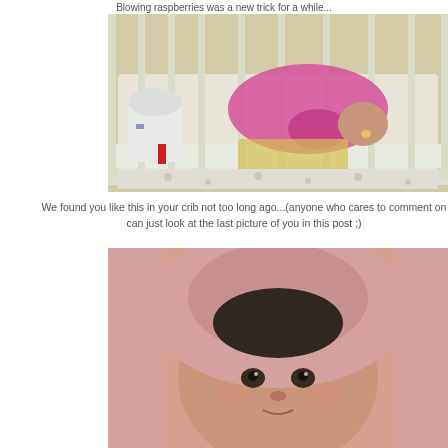Blowing raspberries was a new trick for a while...
[Figure (photo): Baby/toddler in pink pajamas lying in a white crib with rails visible, a humidifier or white device on the side, viewed from inside the crib]
We found you like this in your crib not too long ago...(anyone who cares to comment on can just look at the last picture of you in this post ;)
[Figure (photo): Close-up of a baby wrapped in a pink hooded towel with dark wet hair and eyes looking at camera]